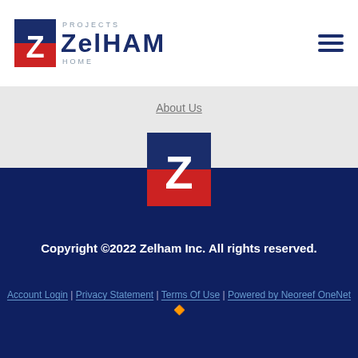[Figure (logo): Zelham Projects logo: blue and red square Z icon with ZELHAM text in navy, PROJECTS above and HOME below in light gray]
About Us
[Figure (logo): Zelham Z logo icon centered, blue top half and red bottom half with white Z]
Copyright ©2022 Zelham Inc. All rights reserved.
Account Login | Privacy Statement | Terms Of Use | Powered by Neoreef OneNet